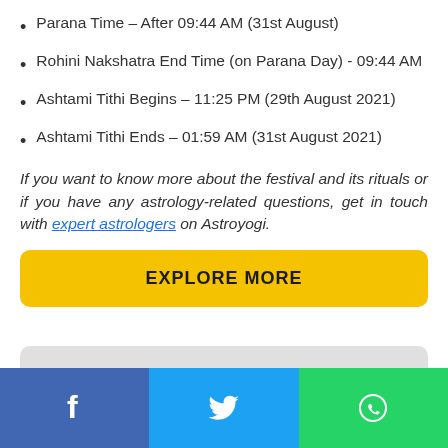Parana Time – After 09:44 AM (31st August)
Rohini Nakshatra End Time (on Parana Day) - 09:44 AM
Ashtami Tithi Begins – 11:25 PM (29th August 2021)
Ashtami Tithi Ends – 01:59 AM (31st August 2021)
If you want to know more about the festival and its rituals or if you have any astrology-related questions, get in touch with expert astrologers on Astroyogi.
[Figure (other): Yellow EXPLORE MORE button and partial grey button below it]
[Figure (other): Social share bar with Facebook (blue), Twitter (light blue), and WhatsApp (green) buttons]